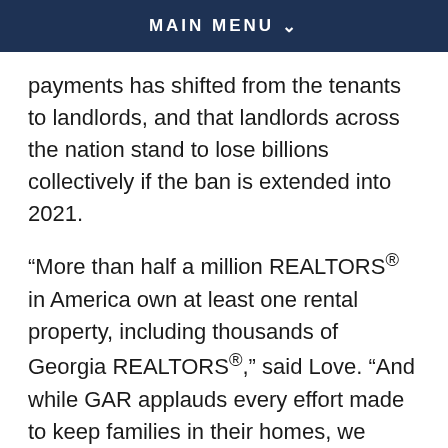MAIN MENU
payments has shifted from the tenants to landlords, and that landlords across the nation stand to lose billions collectively if the ban is extended into 2021.
“More than half a million REALTORS® in America own at least one rental property, including thousands of Georgia REALTORS®,” said Love. “And while GAR applauds every effort made to keep families in their homes, we believe any broad eviction prohibitions must come alongside rental assistance funding for Georgia’s housing providers, whose financial obligations and own livelihoods also remain at stake in light of the pandemic.”